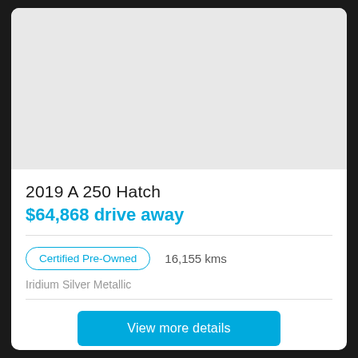[Figure (photo): Gray placeholder image area representing a car photo]
2019 A 250 Hatch
$64,868 drive away
Certified Pre-Owned   16,155 kms
Iridium Silver Metallic
View more details